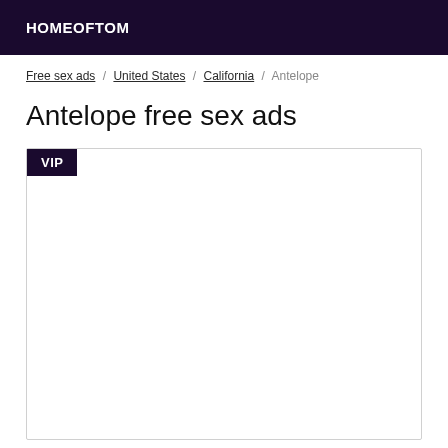HOMEOFTOM
Free sex ads / United States / California / Antelope
Antelope free sex ads
[Figure (other): Listing card with VIP badge in top-left corner, large white content area below]